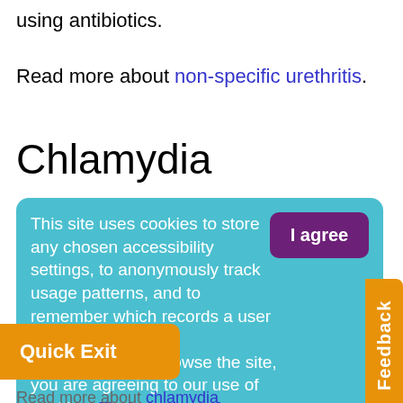using antibiotics.
Read more about non-specific urethritis.
Chlamydia
This site uses cookies to store any chosen accessibility settings, to anonymously track usage patterns, and to remember which records a user has reviewed. By continuing to browse the site, you are agreeing to our use of cookies. Find out more about cookies
Read more about chlamydia